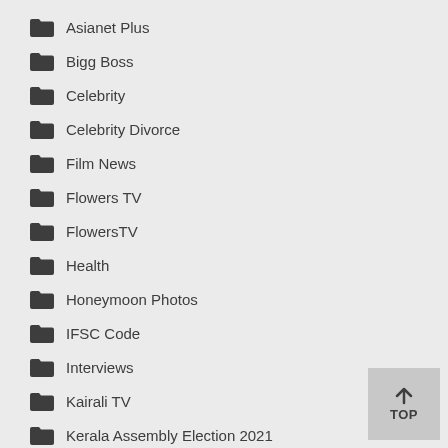Asianet Plus
Bigg Boss
Celebrity
Celebrity Divorce
Film News
Flowers TV
FlowersTV
Health
Honeymoon Photos
IFSC Code
Interviews
Kairali TV
Kerala Assembly Election 2021
Kerala Lottery Results
Kerala PSC